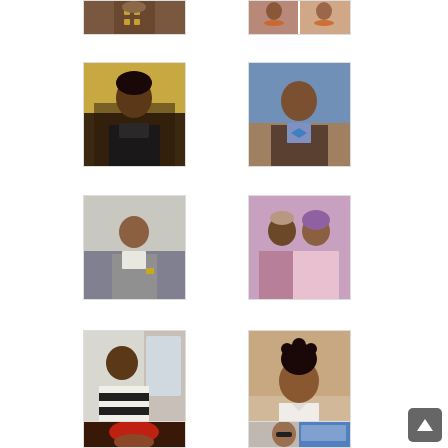[Figure (photo): Photo grid of people - top left: person showing torso/chest tattoos]
[Figure (photo): Photo grid - top right: woman wearing orange beads necklace]
[Figure (photo): Young man with short hair on yellow/golden background, dark jacket]
[Figure (photo): Man in suit with blue bow tie, outdoor background]
[Figure (photo): Young man in grey and white outfit, looking sideways, gold watch]
[Figure (photo): Couple in traditional attire, man in embroidered outfit and woman in pink headwrap]
[Figure (photo): Man in black and white striped top, seated indoors]
[Figure (photo): Woman with elaborate updo hairstyle, elegant portrait]
[Figure (photo): Man in red cap, partial view]
[Figure (photo): Woman near a car, sunglasses, outdoor setting]